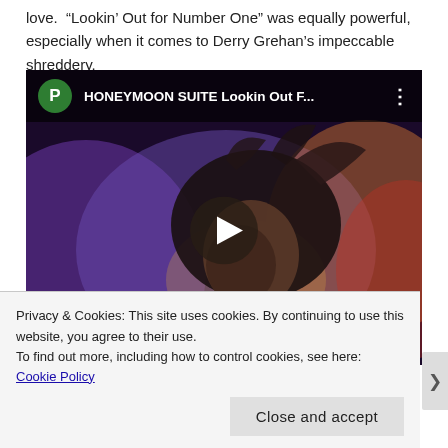love.  “Lookin’ Out for Number One” was equally powerful, especially when it comes to Derry Grehan’s impeccable shreddery.
[Figure (screenshot): YouTube video embed showing a music video thumbnail for 'HONEYMOON SUITE Lookin Out F...' with a person with long dark hair visible in the thumbnail, a green avatar circle with letter P, and a play button overlay.]
Privacy & Cookies: This site uses cookies. By continuing to use this website, you agree to their use.
To find out more, including how to control cookies, see here: Cookie Policy
Close and accept